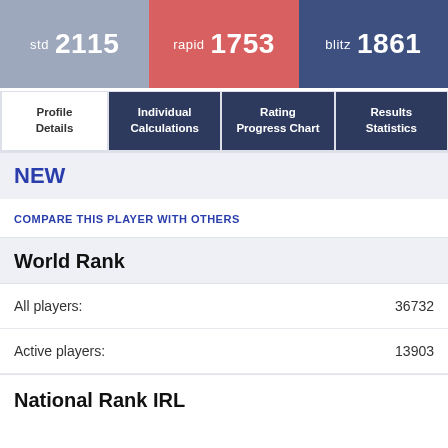std 2115 | rapid 1753 | blitz 1861
Profile Details | Individual Calculations | Rating Progress Chart | Results Statistics
NEW
COMPARE THIS PLAYER WITH OTHERS
World Rank
All players: 36732
Active players: 13903
National Rank IRL